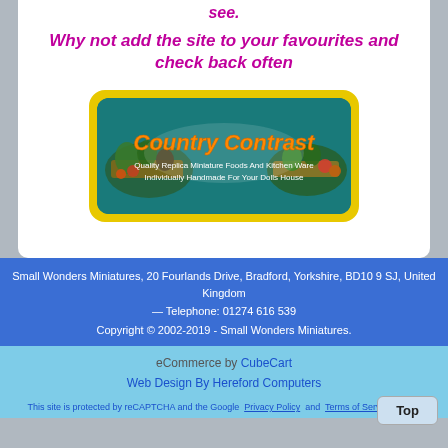see.
Why not add the site to your favourites and check back often
[Figure (logo): Country Contrast logo banner — teal background with text 'Country Contrast' in orange and yellow, subtitle 'Quality Replica Miniature Foods And Kitchen Ware, Individually Handmade For Your Dolls House', with food/vegetable images on left and right sides. Surrounded by a yellow border.]
Small Wonders Miniatures, 20 Fourlands Drive, Bradford, Yorkshire, BD10 9 SJ, United Kingdom — Telephone: 01274 616 539
Copyright © 2002-2019 - Small Wonders Miniatures.
eCommerce by CubeCart
Web Design By Hereford Computers
This site is protected by reCAPTCHA and the Google Privacy Policy and Terms of Service apply.